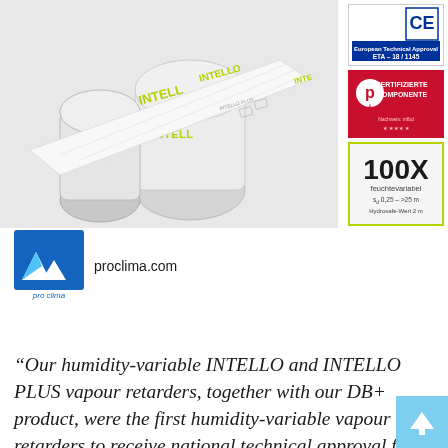[Figure (photo): Rolls of INTELLO and INTELLO PLUS vapour retarder membrane products with green branding text on a white background]
[Figure (logo): ETA European Technical Approval badge - ETA-18/1145]
[Figure (logo): pro A Zertifizierte Komponente red certification badge]
[Figure (logo): 100X feuchtevariabel badge with s_d 0.25 to >25m, Hydrosafe-Wert 2m]
[Figure (logo): pro clima logo (blue mountain/house graphic) with text proclima.com]
“Our humidity-variable INTELLO and INTELLO PLUS vapour retarders, together with our DB+ product, were the first humidity-variable vapour retarders to receive national technical approval from the German Institute for Construction Technology (DIBt). These products have now been awarded approval in the European Technical Assessment (ETA). As a result, they now also have the required proof of durability demanded by DIN 68000-2 for vapour retarders